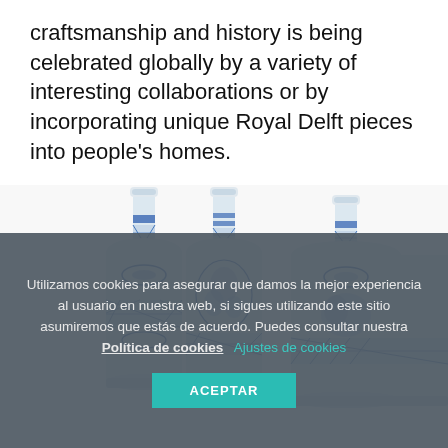craftsmanship and history is being celebrated globally by a variety of interesting collaborations or by incorporating unique Royal Delft pieces into people's homes.
[Figure (photo): Three decorative bottles with blue and white Delft-style ceramic patterns, arranged side by side against a white background.]
Utilizamos cookies para asegurar que damos la mejor experiencia al usuario en nuestra web, si sigues utilizando este sitio asumiremos que estás de acuerdo. Puedes consultar nuestra Política de cookies   Ajustes de cookies
ACEPTAR